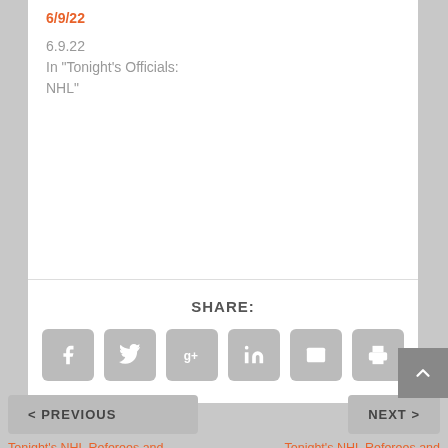6/9/22
6.9.22
In "Tonight's Officials: NHL"
SHARE:
[Figure (infographic): Row of six social share icon buttons: Facebook, Twitter, Google+, LinkedIn, Email, Print — all grey rounded squares with white icons]
< PREVIOUS
NEXT >
Tonight's NHL Referees and Linesmen – 12/29/2019
Tonight's NHL Referees and Linesmen – 12/31/2019